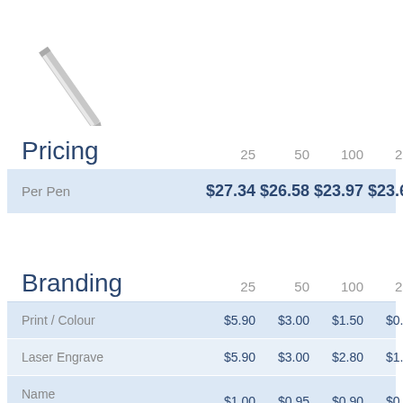[Figure (photo): Partial image of a silver pen or pencil at top-left corner of the page]
|  | 25 | 50 | 100 | 250 | 500 |
| --- | --- | --- | --- | --- | --- |
| Per Pen | $27.34 | $26.58 | $23.97 | $23.61 | $23.26 |
|  | 25 | 50 | 100 | 250 | 500 |
| --- | --- | --- | --- | --- | --- |
| Print / Colour | $5.90 | $3.00 | $1.50 | $0.60 | $0.50 |
| Laser Engrave | $5.90 | $3.00 | $2.80 | $1.90 | $1.80 |
| Name Engrave* | $1.00 | $0.95 | $0.90 | $0.85 | $0.80 |